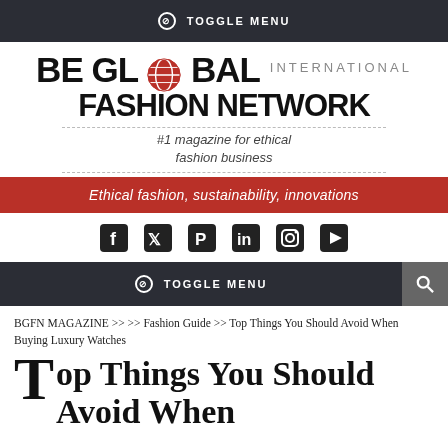TOGGLE MENU
[Figure (logo): Be Global Fashion Network International logo with globe icon and tagline '#1 magazine for ethical fashion business']
Ethical fashion, sustainability, innovations
[Figure (infographic): Social media icons: Facebook, Twitter, Pinterest, LinkedIn, Instagram, YouTube]
TOGGLE MENU
BGFN MAGAZINE >> >> Fashion Guide >> Top Things You Should Avoid When Buying Luxury Watches
Top Things You Should Avoid When